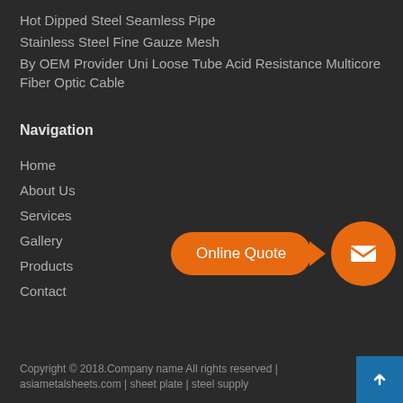Hot Dipped Steel Seamless Pipe
Stainless Steel Fine Gauze Mesh
By OEM Provider Uni Loose Tube Acid Resistance Multicore Fiber Optic Cable
Navigation
Home
About Us
Services
Gallery
Products
Contact
[Figure (infographic): Orange 'Online Quote' pill button with arrow pointing to an orange circle with envelope/email icon]
Copyright © 2018.Company name All rights reserved | asiametalsheets.com | sheet plate | steel supply